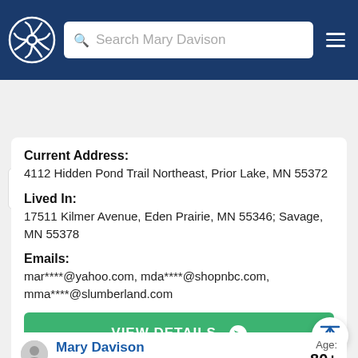Search Mary Davison
Filter by State: All States | Sort By: Relevance | Filters
Current Address:
4112 Hidden Pond Trail Northeast, Prior Lake, MN 55372
Lived In:
17511 Kilmer Avenue, Eden Prairie, MN 55346; Savage, MN 55378
Emails:
mar****@yahoo.com, mda****@shopnbc.com, mma****@slumberland.com
VIEW DETAILS
Mary Davison
in Grand Junction, CO
Age: 80+